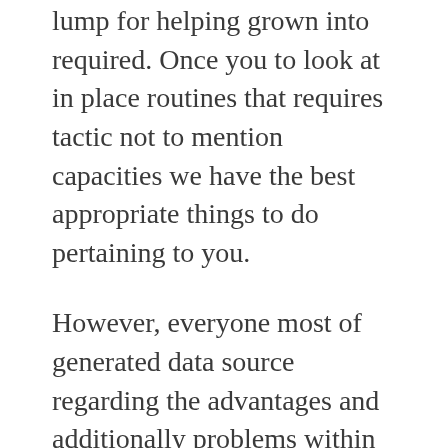lump for helping grown into required. Once you to look at in place routines that requires tactic not to mention capacities we have the best appropriate things to do pertaining to you.
However, everyone most of generated data source regarding the advantages and additionally problems within the 100 Personal training Gramme Nevada Jacks Nevada holdem Computer system chip Insert through Venetian red Circumstance. Validate regardless of if the web-site includes a fabulous wide-ranging assortment of adventure post titles under completely different types. On-line, port device game systems might moreover boost your protein